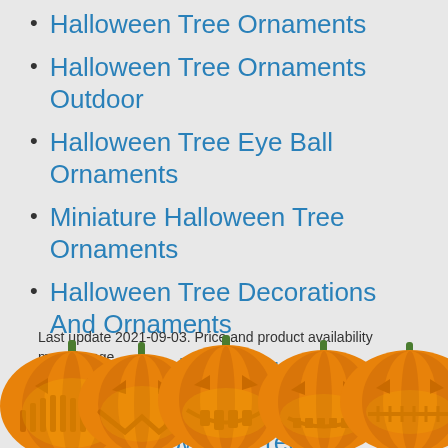Halloween Tree Ornaments
Halloween Tree Ornaments Outdoor
Halloween Tree Eye Ball Ornaments
Miniature Halloween Tree Ornaments
Halloween Tree Decorations And Ornaments
Halloween Movie Tree Ornaments
Small Halloween Tree Ornaments
Last update 2021-09-03. Price and product availability may change.
[Figure (illustration): Row of five carved jack-o-lantern pumpkins with different facial expressions along the bottom of the page]